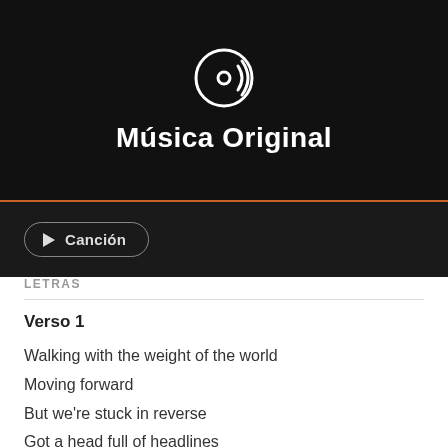[Figure (illustration): Dark hero banner with vinyl record icon and title 'Música Original' in white text on black background]
Música Original
▶ Canción
LETRAS
Verso 1
Walking with the weight of the world
Moving forward
But we're stuck in reverse
Got a head full of headlines
A heart full of doubts